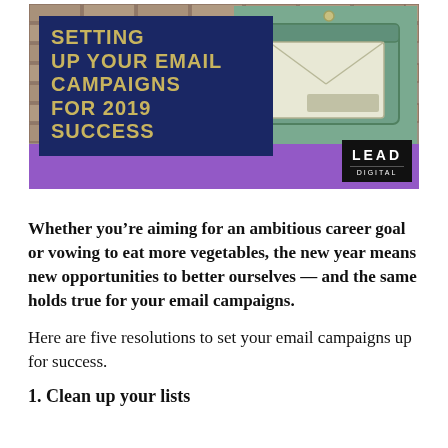[Figure (illustration): Banner image showing a teal/green vintage mailbox against a brick wall background, with a purple bar at the bottom. Overlaid with a dark navy blue box containing the title text in gold/olive uppercase letters: SETTING UP YOUR EMAIL CAMPAIGNS FOR 2019 SUCCESS. A black LEAD DIGITAL badge appears in the bottom right.]
Whether you’re aiming for an ambitious career goal or vowing to eat more vegetables, the new year means new opportunities to better ourselves — and the same holds true for your email campaigns.
Here are five resolutions to set your email campaigns up for success.
1. Clean up your lists